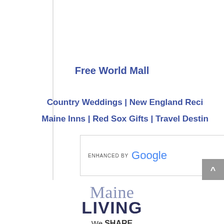Free World Mall
Country Weddings | New England Reci Maine Inns | Red Sox Gifts | Travel Destin
[Figure (screenshot): Google search box with 'ENHANCED BY Google' text]
[Figure (logo): Maine Living logo with 'Maine' in light serif and 'LIVING' in bold dark sans-serif]
We SHARE